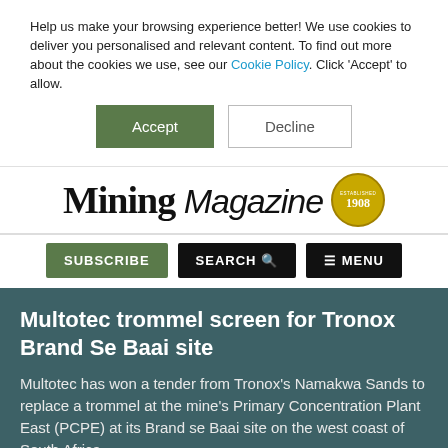Help us make your browsing experience better! We use cookies to deliver you personalised and relevant content. To find out more about the cookies we use, see our Cookie Policy. Click 'Accept' to allow.
Accept | Decline
[Figure (logo): Mining Magazine logo with 'Mining' in bold serif and 'Magazine' in italic sans-serif, alongside a circular gold badge reading 'Established 1908']
SUBSCRIBE  SEARCH  ≡ MENU
Multotec trommel screen for Tronox Brand Se Baai site
Multotec has won a tender from Tronox's Namakwa Sands to replace a trommel at the mine's Primary Concentration Plant East (PCPE) at its Brand se Baai site on the west coast of South Africa